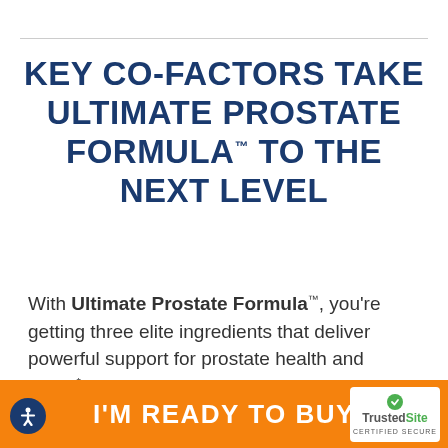KEY CO-FACTORS TAKE ULTIMATE PROSTATE FORMULA™ TO THE NEXT LEVEL
With Ultimate Prostate Formula™, you're getting three elite ingredients that deliver powerful support for prostate health and more.* Plus, we supercharge this powerful blend with key co-factors that take Ultimate Prostate Formula™ beyond regular men's
I'M READY TO BUY